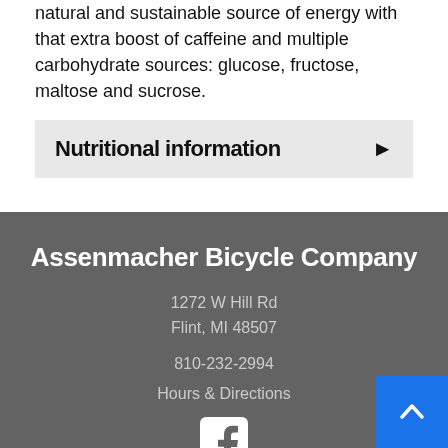natural and sustainable source of energy with that extra boost of caffeine and multiple carbohydrate sources: glucose, fructose, maltose and sucrose.
Nutritional information
Assenmacher Bicycle Company
1272 W Hill Rd
Flint, MI 48507
810-232-2994
Hours & Directions
[Figure (logo): Facebook logo icon in white on dark background]
Back to top button